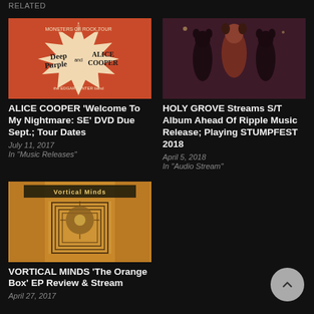RELATED
[Figure (illustration): Album/tour poster for Deep Purple and Alice Cooper on orange/red background with starburst design]
ALICE COOPER 'Welcome To My Nightmare: SE' DVD Due Sept.; Tour Dates
July 11, 2017
In "Music Releases"
[Figure (illustration): Dark album art featuring shadowy animal-headed figures (wolves or bears) against a dark purple/maroon background]
HOLY GROVE Streams S/T Album Ahead Of Ripple Music Release; Playing STUMPFEST 2018
April 5, 2018
In "Audio Stream"
[Figure (illustration): Vortical Minds album art - orange/gold ornate design with geometric patterns and text 'Vortical Minds' at top]
VORTICAL MINDS 'The Orange Box' EP Review & Stream
April 27, 2017